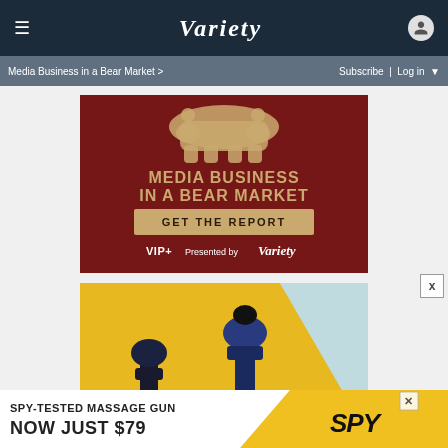Variety — Media Business in a Bear Market > | Subscribe | Log in
[Figure (illustration): Variety VIP+ advertisement for 'Media Business in a Bear Market' report. Dark red background with a golden bear silhouette at top, bold gold text headline, a 'GET THE REPORT' button, and 'VIP+ Presented by Variety' at the bottom.]
[Figure (photo): Advertisement showing massage gun products on a yellow and light blue background.]
[Figure (illustration): Bottom banner advertisement: 'SPY-TESTED MASSAGE GUN NOW JUST $79' with SPY logo on yellow background.]